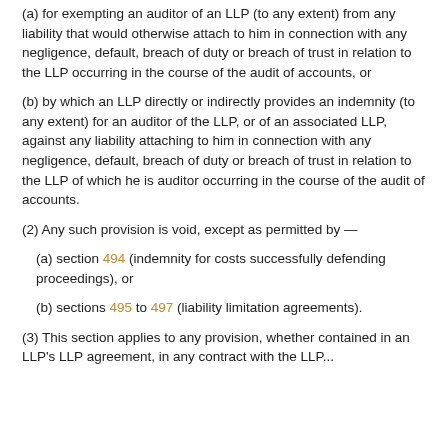(a) for exempting an auditor of an LLP (to any extent) from any liability that would otherwise attach to him in connection with any negligence, default, breach of duty or breach of trust in relation to the LLP occurring in the course of the audit of accounts, or
(b) by which an LLP directly or indirectly provides an indemnity (to any extent) for an auditor of the LLP, or of an associated LLP, against any liability attaching to him in connection with any negligence, default, breach of duty or breach of trust in relation to the LLP of which he is auditor occurring in the course of the audit of accounts.
(2) Any such provision is void, except as permitted by —
(a) section 494 (indemnity for costs successfully defending proceedings), or
(b) sections 495 to 497 (liability limitation agreements).
(3) This section applies to any provision, whether contained in an LLP's LLP agreement, in any contract with the LLP...